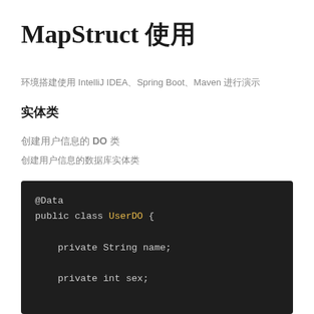MapStruct 使用
环境搭建使用 IntelliJ IDEA、Spring Boot、Maven 进行演示
实体类
创建用户信息的 DO 类
创建用户信息的数据库实体类
[Figure (screenshot): Java code block showing @Data annotation and public class UserDO with private String name and private int sex fields on dark background]